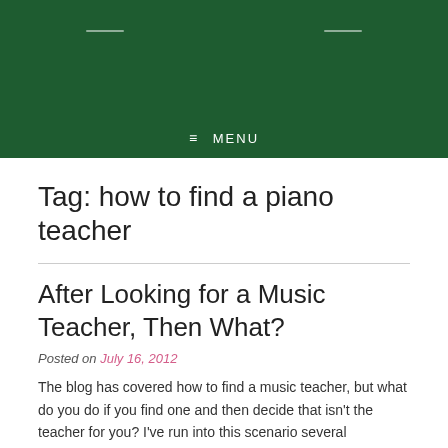≡ MENU
Tag: how to find a piano teacher
After Looking for a Music Teacher, Then What?
Posted on July 16, 2012
The blog has covered how to find a music teacher, but what do you do if you find one and then decide that isn't the teacher for you? I've run into this scenario several